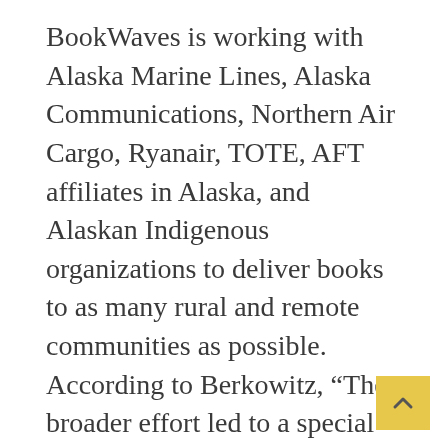BookWaves is working with Alaska Marine Lines, Alaska Communications, Northern Air Cargo, Ryanair, TOTE, AFT affiliates in Alaska, and Alaskan Indigenous organizations to deliver books to as many rural and remote communities as possible. According to Berkowitz, “The broader effort led to a special partnership between the Alaska fishing philanthropic organization AFIRM and Western Alaskan Community Development Quota Program villages to provide access to books for their local youth. Kids from Atka to Naknek to Diomede will have an opportunity to select their own high-quality books.”